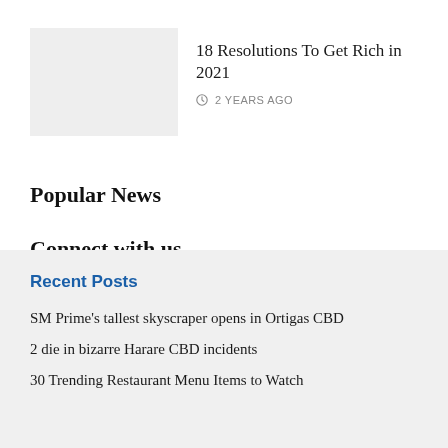[Figure (photo): Gray placeholder thumbnail image for article]
18 Resolutions To Get Rich in 2021
2 YEARS AGO
Popular News
Connect with us
Recent Posts
SM Prime's tallest skyscraper opens in Ortigas CBD
2 die in bizarre Harare CBD incidents
30 Trending Restaurant Menu Items to Watch